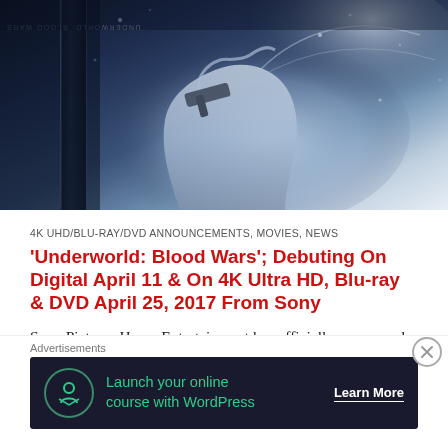[Figure (photo): Hero image of Underworld: Blood Wars Blu-ray cover / movie still showing a figure in white/silver with gun against a blue-white wintry background, with the movie spine visible on the left edge]
4K UHD/BLU-RAY/DVD ANNOUNCEMENTS, MOVIES, NEWS
'Underworld: Blood Wars'; Debuting On Digital April 11 & On 4K Ultra HD, Blu-ray & DVD April 25, 2017 From Sony
Sony Pictures Home Entertainment has officially announced and detailed their home entertainment releases for the latest chapter in the Kate Beckinsale starring franchise. 'Underworld: Blood Wars' will be available to own early on Digital beginning April 11,
Advertisements
[Figure (other): Advertisement banner with dark navy background: icon of person at computer, green text 'Launch your online course with WordPress', and 'Learn More' button with underline]